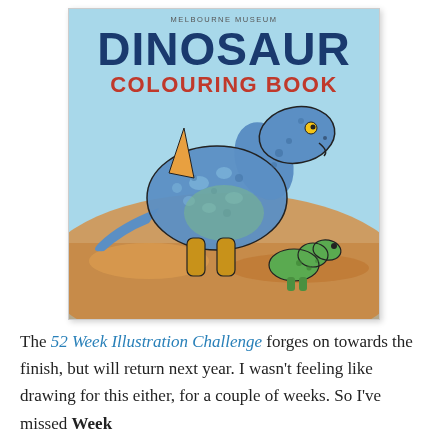[Figure (illustration): Cover of the Melbourne Museum Dinosaur Colouring Book showing a large blue dinosaur with spots leaning down toward a smaller green dinosaur against an orange/sandy desert background.]
The 52 Week Illustration Challenge forges on towards the finish, but will return next year. I wasn't feeling like drawing for this either, for a couple of weeks. So I've missed Week